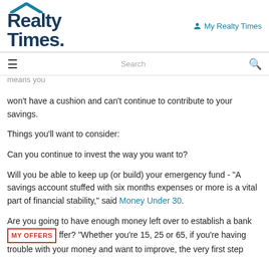[Figure (logo): Realty Times logo with house roof icon and 'My Realty Times' navigation link]
My Realty Times
doesn't mean you have to spend all $400,000, it might be that are not comfortable with a payment that high if it means you won't have a cushion and can't continue to contribute to your savings.
Things you'll want to consider:
Can you continue to invest the way you want to?
Will you be able to keep up (or build) your emergency fund - "A savings account stuffed with six months expenses or more is a vital part of financial stability," said Money Under 30.
Are you going to have enough money left over to establish a bank buffer? "Whether you're 15, 25 or 65, if you're having trouble with your money and want to improve, the very first step